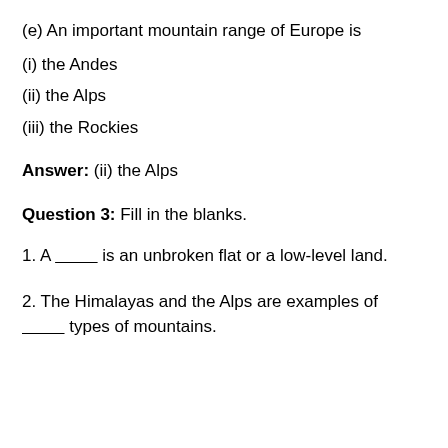(e) An important mountain range of Europe is
(i) the Andes
(ii) the Alps
(iii) the Rockies
Answer: (ii) the Alps
Question 3: Fill in the blanks.
1. A ________ is an unbroken flat or a low-level land.
2. The Himalayas and the Alps are examples of ________ types of mountains.